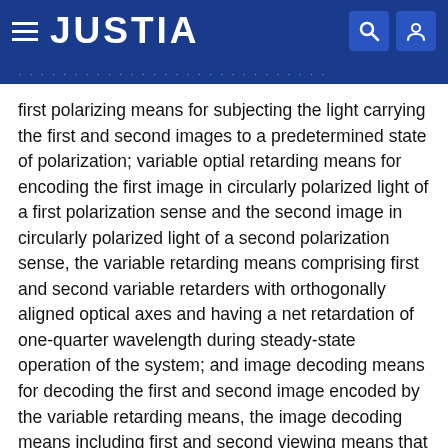JUSTIA
first polarizing means for subjecting the light carrying the first and second images to a predetermined state of polarization; variable optial retarding means for encoding the first image in circularly polarized light of a first polarization sense and the second image in circularly polarized light of a second polarization sense, the variable retarding means comprising first and second variable retarders with orthogonally aligned optical axes and having a net retardation of one-quarter wavelength during steady-state operation of the system; and image decoding means for decoding the first and second image encoded by the variable retarding means, the image decoding means including first and second viewing means that are positioned